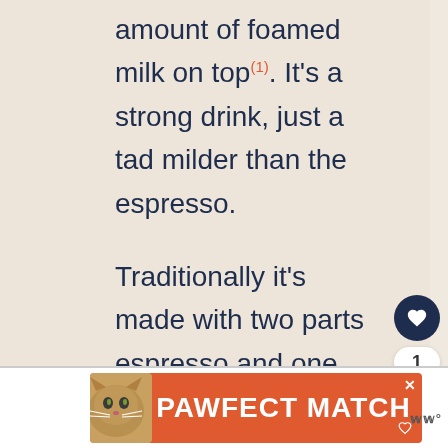amount of foamed milk on top(1). It's a strong drink, just a tad milder than the espresso.
Traditionally it's made with two parts espresso and one part milk foam. It's served warm, in a cup on a saucer.
[Figure (other): Three orange/coral decorative dots used as a section divider]
[Figure (infographic): Advertisement banner for 'PAWFECT MATCH' showing a cat photo on orange background with close button]